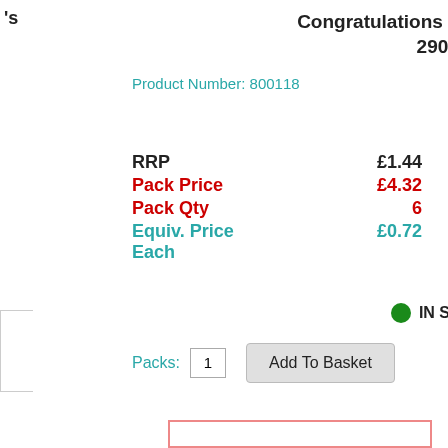Congratulations Isabel's Garden 29080
Product Number: 800118
| Label | Value |
| --- | --- |
| RRP | £1.44 |
| Pack Price | £4.32 |
| Pack Qty | 6 |
| Equiv. Price Each | £0.72 |
IN STOCK
Packs: 1  Add To Basket